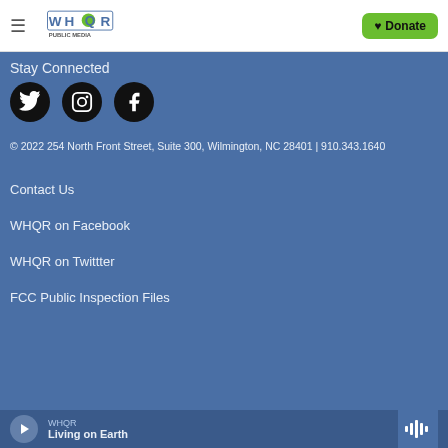WHQR PUBLIC MEDIA — Donate
Stay Connected
[Figure (illustration): Three social media icons in black circles: Twitter bird icon, Instagram camera icon, Facebook f icon]
© 2022 254 North Front Street, Suite 300, Wilmington, NC 28401 | 910.343.1640
Contact Us
WHQR on Facebook
WHQR on Twittter
FCC Public Inspection Files
WHQR — Living on Earth